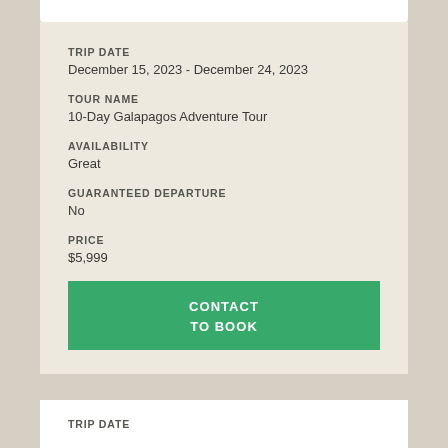TRIP DATE
December 15, 2023 - December 24, 2023
TOUR NAME
10-Day Galapagos Adventure Tour
AVAILABILITY
Great
GUARANTEED DEPARTURE
No
PRICE
$5,999
CONTACT TO BOOK
TRIP DATE